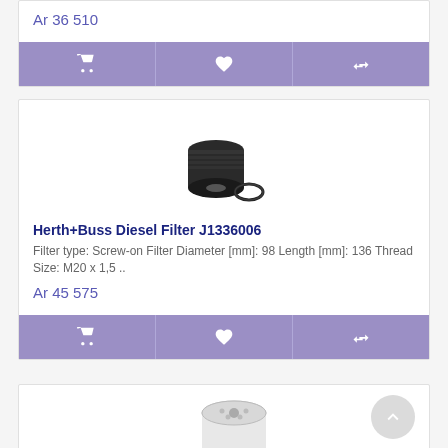Ar 36 510
[Figure (other): Action bar with cart, heart, and compare icons on purple background]
[Figure (photo): Herth+Buss Diesel Filter J1336006 product photo - black cylindrical screw-on filter with o-ring]
Herth+Buss Diesel Filter J1336006
Filter type: Screw-on Filter Diameter [mm]: 98 Length [mm]: 136 Thread Size: M20 x 1,5 ..
Ar 45 575
[Figure (other): Action bar with cart, heart, and compare icons on purple background]
[Figure (photo): White cylindrical filter product photo, partially visible at bottom of page]